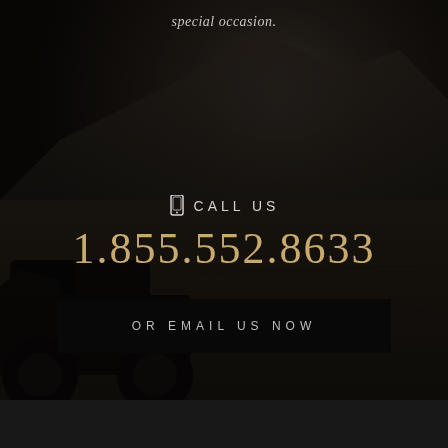special occasion.
CALL US
1.855.552.8633
OR EMAIL US NOW
[Figure (photo): Dark background photo of a military-style vehicle (Humvee) parked in a desert landscape with mountains in the background. The image is heavily darkened with a shadowy atmosphere.]